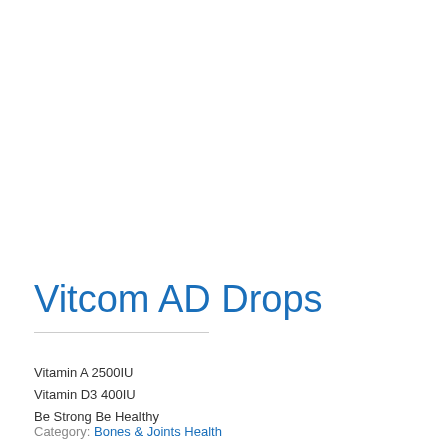Vitcom AD Drops
Vitamin A 2500IU
Vitamin D3 400IU
Be Strong Be Healthy
Category: Bones & Joints Health